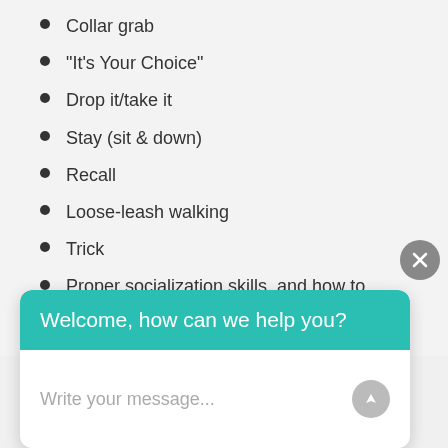Collar grab
“It’s Your Choice”
Drop it/take it
Stay (sit & down)
Recall
Loose-leash walking
Trick
Proper socialization skills, and how to meet other dogs and new things in the environment.
[Figure (screenshot): Chat widget with teal header saying 'Welcome, how can we help you?' and a text input area with placeholder 'Write your message...' and a send button. A grey close (X) button appears in the upper right of the widget area.]